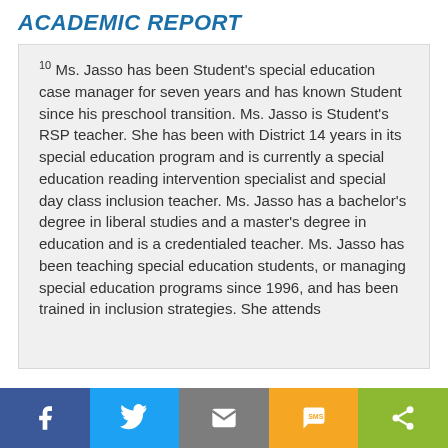ACADEMIC REPORT
10 Ms. Jasso has been Student's special education case manager for seven years and has known Student since his preschool transition. Ms. Jasso is Student's RSP teacher. She has been with District 14 years in its special education program and is currently a special education reading intervention specialist and special day class inclusion teacher. Ms. Jasso has a bachelor's degree in liberal studies and a master's degree in education and is a credentialed teacher. Ms. Jasso has been teaching special education students, or managing special education programs since 1996, and has been trained in inclusion strategies. She attends